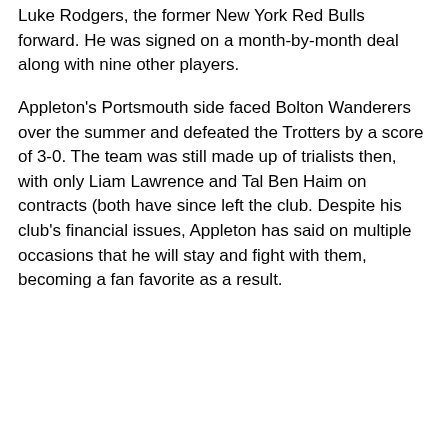Luke Rodgers, the former New York Red Bulls forward. He was signed on a month-by-month deal along with nine other players.
Appleton's Portsmouth side faced Bolton Wanderers over the summer and defeated the Trotters by a score of 3-0. The team was still made up of trialists then, with only Liam Lawrence and Tal Ben Haim on contracts (both have since left the club. Despite his club's financial issues, Appleton has said on multiple occasions that he will stay and fight with them, becoming a fan favorite as a result.